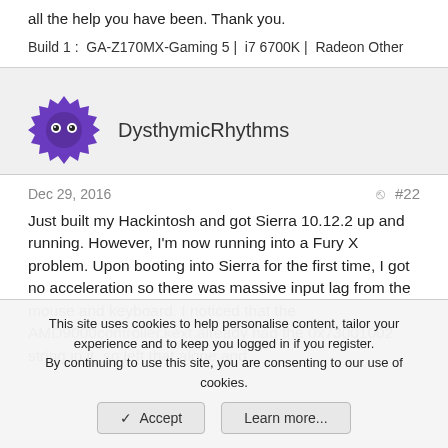all the help you have been. Thank you.
Build 1 :  GA-Z170MX-Gaming 5 |  i7 6700K |  Radeon Other
DysthymicRhythms
Dec 29, 2016
#22
Just built my Hackintosh and got Sierra 10.12.2 up and running. However, I'm now running into a Fury X problem. Upon booting into Sierra for the first time, I got no acceleration so there was massive input lag from the mouse and keyboard. I noticed that the AMD9000controller.kext already had the 0x73001002 string in it, so left that alone and
This site uses cookies to help personalise content, tailor your experience and to keep you logged in if you register.
By continuing to use this site, you are consenting to our use of cookies.
Accept
Learn more...